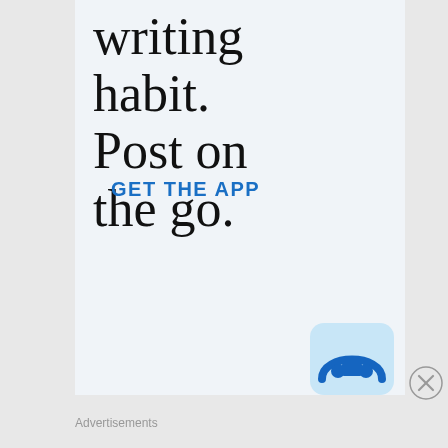[Figure (screenshot): Advertisement banner with large serif text reading 'writing habit. Post on the go.' with a blue 'GET THE APP' call to action link, a partial app icon visible in bottom right corner, and an X close button. Below the ad is an 'Advertisements' label.]
writing habit. Post on the go.
GET THE APP
Advertisements